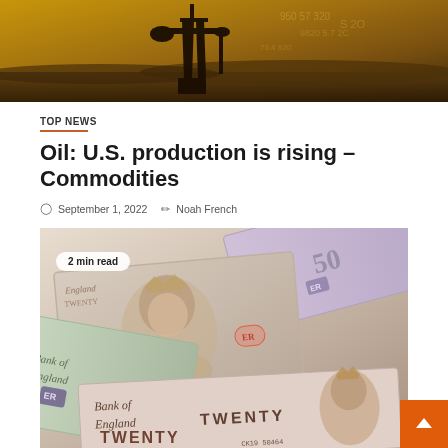[Figure (photo): Oil pump jack silhouette against a golden sunset sky with financial numbers overlaid in the background]
TOP NEWS
Oil: U.S. production is rising – Commodities
September 1, 2022   Noah French
[Figure (photo): Close-up of British pound sterling banknotes including twenty pound notes showing Queen Elizabeth II portrait and Bank of England text, with a '2 min read' badge overlay and an orange scroll-up button]